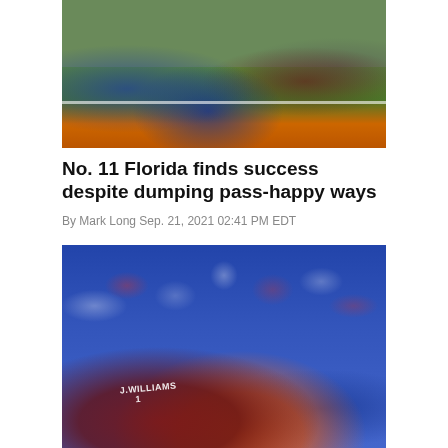[Figure (photo): Football players on the field, Florida Gators in blue uniforms versus Alabama players, action near the endzone on orange and green turf]
No. 11 Florida finds success despite dumping pass-happy ways
By Mark Long Sep. 21, 2021 02:41 PM EDT
[Figure (photo): Alabama receiver J. Williams in white #1 jersey catching or battling for ball against Florida Gators defender in orange helmet, crowd of fans in blue and red in background]